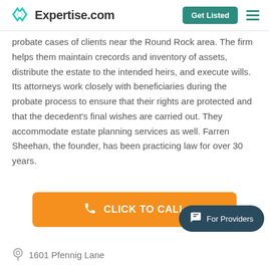Expertise.com | Get Listed
probate cases of clients near the Round Rock area. The firm helps them maintain crecords and inventory of assets, distribute the estate to the intended heirs, and execute wills. Its attorneys work closely with beneficiaries during the probate process to ensure that their rights are protected and that the decedent's final wishes are carried out. They accommodate estate planning services as well. Farren Sheehan, the founder, has been practicing law for over 30 years.
[Figure (other): Orange 'CLICK TO CALL' button with phone icon]
[Figure (other): Dark teal 'For Providers' chat badge button]
1601 Pfennig Lane